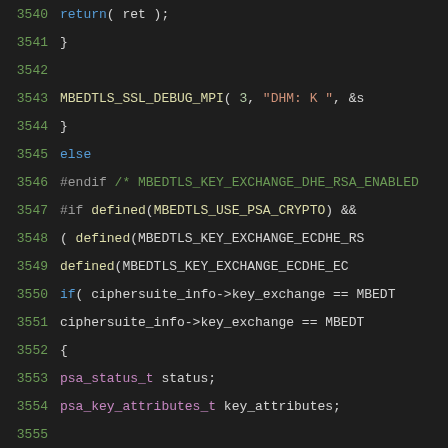[Figure (screenshot): Source code listing showing C code lines 3540-3560 from an mbedTLS SSL implementation, with syntax highlighting on a dark background. Lines include return statement, closing braces, MBEDTLS_SSL_DEBUG_MPI call, preprocessor directives for MBEDTLS_KEY_EXCHANGE and MBEDTLS_USE_PSA_CRYPTO, if conditions checking ciphersuite_info->key_exchange, and variable declarations including psa_status_t, psa_key_attributes_t, mbedtls_ssl_handshake_params, unsigned char arrays, and size_t.]